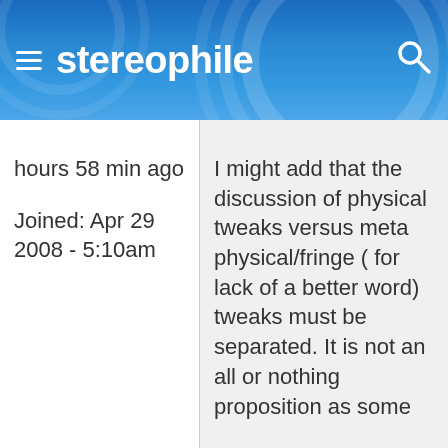stereophile
hours 58 min ago

Joined: Apr 29 2008 - 5:10am
I might add that the discussion of physical tweaks versus meta physical/fringe ( for lack of a better word) tweaks must be separated. It is not an all or nothing proposition as some